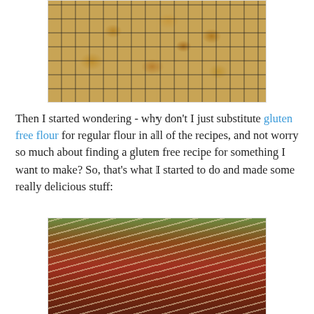[Figure (photo): Chocolate chip cookies cooling on a wire rack]
Then I started wondering - why don't I just substitute gluten free flour for regular flour in all of the recipes, and not worry so much about finding a gluten free recipe for something I want to make? So, that's what I started to do and made some really delicious stuff:
[Figure (photo): Lasagna in a glass baking dish topped with red tomato sauce and shredded cheese]